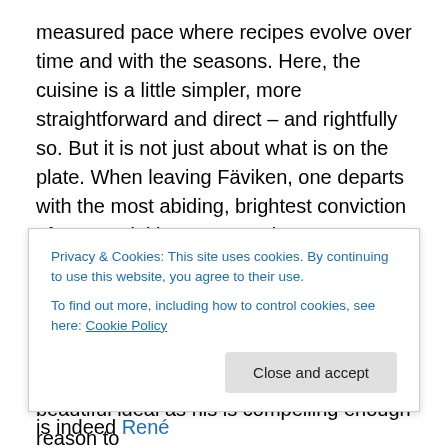measured pace where recipes evolve over time and with the seasons. Here, the cuisine is a little simpler, more straightforward and direct – and rightfully so. But it is not just about what is on the plate. When leaving Fäviken, one departs with the most abiding, brightest conviction of a potential immense and not yet met. The chef is refining – still cultivating – his craft and even now discovering what is realisable with what he has still waiting, unearthed, around him. To see the impending consummation of such a beautiful ideal as his is compelling enough reason to return.
Privacy & Cookies: This site uses cookies. By continuing to use this website, you agree to their use. To find out more, including how to control cookies, see here: Cookie Policy
become cool again. Chief amongst these is indeed René